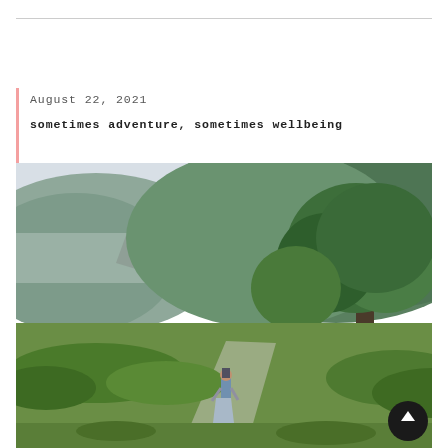August 22, 2021
sometimes adventure, sometimes wellbeing
[Figure (photo): A person standing on a path in a lush green valley surrounded by forested hills, with misty mountains in the background. The scene is overcast and green.]